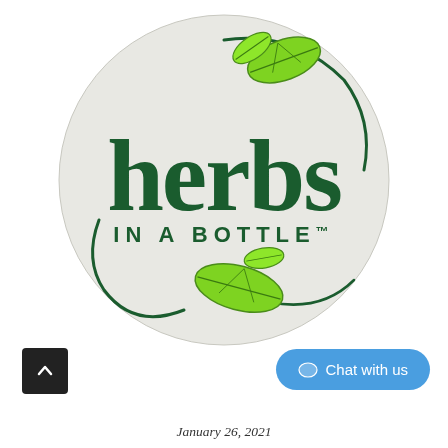[Figure (logo): Herbs in a Bottle logo: circular badge with light gray background, dark green text 'herbs' in large serif font, 'IN A BOTTLE™' in smaller spaced caps below, with green leaf decorations at top-right and bottom-center, and swirling dark green vine lines.]
Chat with us
January 26, 2021